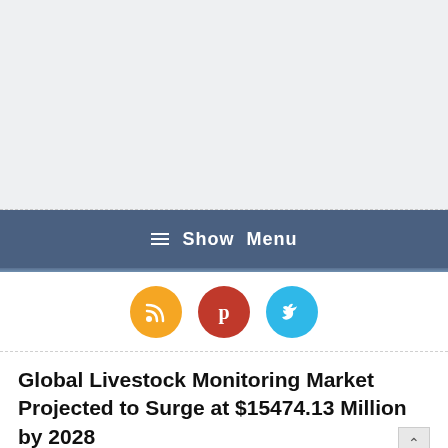[Figure (other): Grey advertisement banner placeholder area at top of page]
☰  Show  Menu
[Figure (other): Social media icon buttons: RSS (orange), Pinterest (red), Twitter (blue)]
Global Livestock Monitoring Market Projected to Surge at $15474.13 Million by 2028